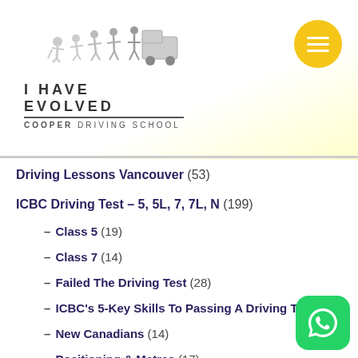[Figure (logo): I Have Evolved Cooper Driving School logo with evolution silhouette graphic]
Driving Lessons Vancouver (53)
ICBC Driving Test – 5, 5L, 7, 7L, N (199)
– Class 5 (19)
– Class 7 (14)
– Failed The Driving Test (28)
– ICBC's 5-Key Skills To Passing A Driving Test (8)
– New Canadians (14)
– Positioning & Metres (17)
– Rules Of The Road (26)
ICBC News (5)